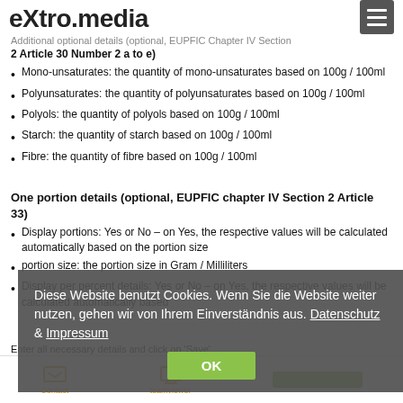eXtro.media
Additional optional details (optional, EUPFIC Chapter IV Section 2 Article 30 Number 2 a to e)
Mono-unsaturates: the quantity of mono-unsaturates based on 100g / 100ml
Polyunsaturates: the quantity of polyunsaturates based on 100g / 100ml
Polyols: the quantity of polyols based on 100g / 100ml
Starch: the quantity of starch based on 100g / 100ml
Fibre: the quantity of fibre based on 100g / 100ml
One portion details (optional, EUPFIC chapter IV Section 2 Article 33)
Display portions: Yes or No – on Yes, the respective values will be calculated automatically based on the portion size
portion size: the portion size in Gram / Milliliters
Display per percent details: Yes or No – on Yes, the respective values will be calculated automatically based
Diese Website benutzt Cookies. Wenn Sie die Website weiter nutzen, gehen wir von Ihrem Einverständnis aus. Datenschutz & Impressum
Enter all necessary details and click on 'Save'…